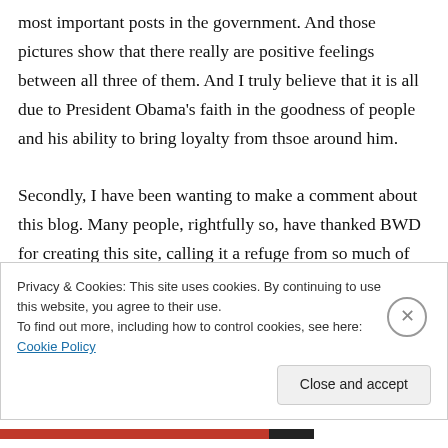most important posts in the government. And those pictures show that there really are positive feelings between all three of them. And I truly believe that it is all due to President Obama's faith in the goodness of people and his ability to bring loyalty from thsoe around him.

Secondly, I have been wanting to make a comment about this blog. Many people, rightfully so, have thanked BWD for creating this site, calling it a refuge from so much of the insanity of
Privacy & Cookies: This site uses cookies. By continuing to use this website, you agree to their use.
To find out more, including how to control cookies, see here: Cookie Policy
Close and accept